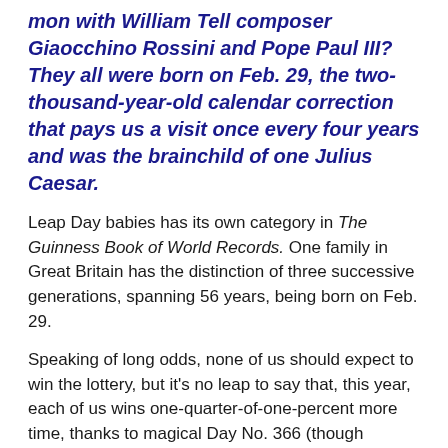mon with William Tell composer Giaocchino Rossini and Pope Paul III? They all were born on Feb. 29, the two-thousand-year-old calendar correction that pays us a visit once every four years and was the brainchild of one Julius Caesar.
Leap Day babies has its own category in The Guinness Book of World Records. One family in Great Britain has the distinction of three successive generations, spanning 56 years, being born on Feb. 29.
Speaking of long odds, none of us should expect to win the lottery, but it's no leap to say that, this year, each of us wins one-quarter-of-one-percent more time, thanks to magical Day No. 366 (though sequentially it's Day No. 60).